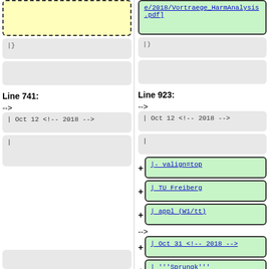| (yellow box, dashed border, top-left)
e/2018/Vortraege_HarmAnalysis.pdf] (green box, top-right)
|}
|)
(empty box left)
(empty box right)
Line 741:
Line 923:
| Oct 12 <!-- 2018 -->
| Oct 12 <!-- 2018 -->
|
|
|- valign=top
| TU Freiberg
| appl (W1/tt)
| Oct 31  <!-- 2018 -->
| '''Sprungk'''
(empty green box)
(bottom gray boxes)